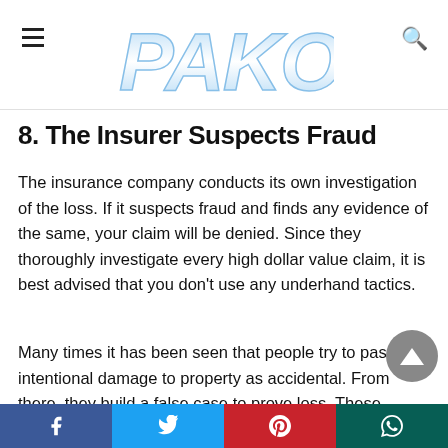PAKOPTION
8. The Insurer Suspects Fraud
The insurance company conducts its own investigation of the loss. If it suspects fraud and finds any evidence of the same, your claim will be denied. Since they thoroughly investigate every high dollar value claim, it is best advised that you don't use any underhand tactics.
Many times it has been seen that people try to pass off intentional damage to property as accidental. From there, they build a false case to prove loss. These fraudulent methods are not
Facebook Twitter Pinterest WhatsApp